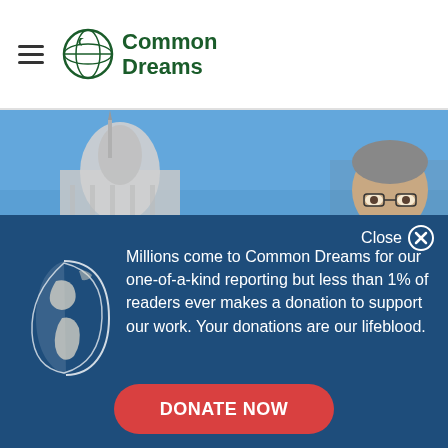Common Dreams
[Figure (photo): Photo of the U.S. Capitol building dome under blue sky on the left, and a person (politician) peering over something on the right side, against a blue sky background.]
Close ✕
[Figure (logo): Common Dreams globe logo — white crescent globe with continents on dark blue background]
Millions come to Common Dreams for our one-of-a-kind reporting but less than 1% of readers ever makes a donation to support our work. Your donations are our lifeblood.
DONATE NOW